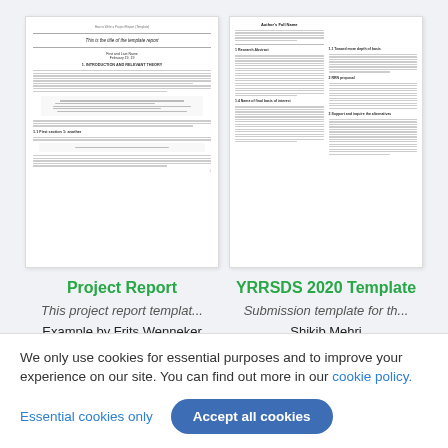[Figure (screenshot): Thumbnail preview of a Project Report document template showing title, author lines, section headers, body text lines, and formula area.]
[Figure (screenshot): Thumbnail preview of the YRRSDS 2020 Template document showing author name, two-column layout with section headers and body text lines.]
Project Report
This project report templat...
Example by Frits Wenneker
YRRSDS 2020 Template
Submission template for th...
Shikib Mehri
We only use cookies for essential purposes and to improve your experience on our site. You can find out more in our cookie policy.
Essential cookies only
Accept all cookies